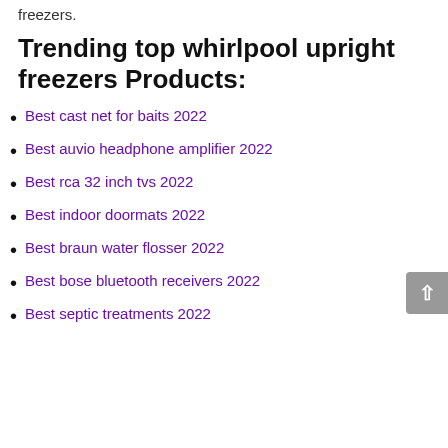freezers.
Trending top whirlpool upright freezers Products:
Best cast net for baits 2022
Best auvio headphone amplifier 2022
Best rca 32 inch tvs 2022
Best indoor doormats 2022
Best braun water flosser 2022
Best bose bluetooth receivers 2022
Best septic treatments 2022